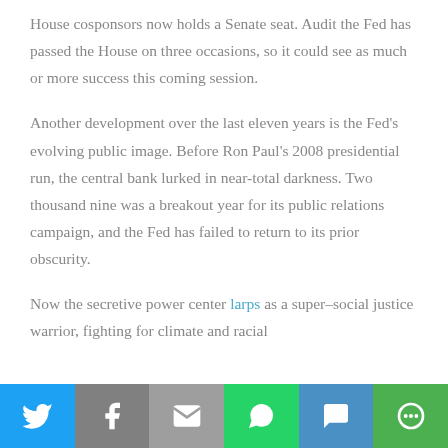House cosponsors now holds a Senate seat. Audit the Fed has passed the House on three occasions, so it could see as much or more success this coming session.
Another development over the last eleven years is the Fed's evolving public image. Before Ron Paul's 2008 presidential run, the central bank lurked in near-total darkness. Two thousand nine was a breakout year for its public relations campaign, and the Fed has failed to return to its prior obscurity.
Now the secretive power center larps as a super–social justice warrior, fighting for climate and racial justice, the top priorities of the progressive left.
[Figure (other): Social sharing bar with icons for Twitter, Facebook, Email, WhatsApp, SMS, and More]